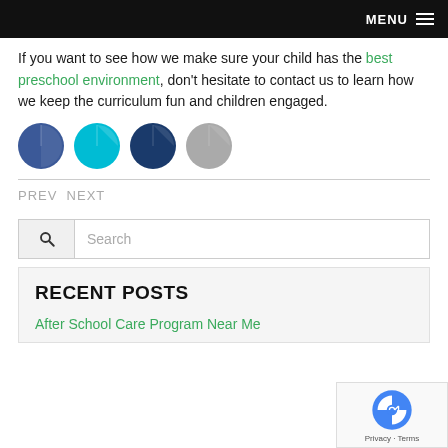MENU
If you want to see how we make sure your child has the best preschool environment, don't hesitate to contact us to learn how we keep the curriculum fun and children engaged.
[Figure (other): Four social media share icons (Facebook dark blue, Twitter cyan, LinkedIn dark blue, Google+ gray) as circles]
PREV  NEXT
Search
RECENT POSTS
After School Care Program Near Me